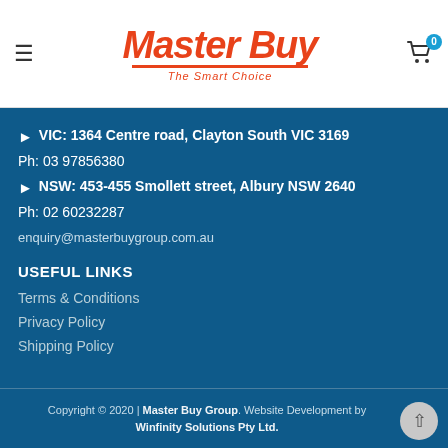Master Buy — The Smart Choice
VIC: 1364 Centre road, Clayton South VIC 3169
Ph: 03 97856380
NSW: 453-455 Smollett street, Albury NSW 2640
Ph: 02 60232287
enquiry@masterbuygroup.com.au
USEFUL LINKS
Terms & Conditions
Privacy Policy
Shipping Policy
Copyright © 2020 | Master Buy Group. Website Development by Winfinity Solutions Pty Ltd.